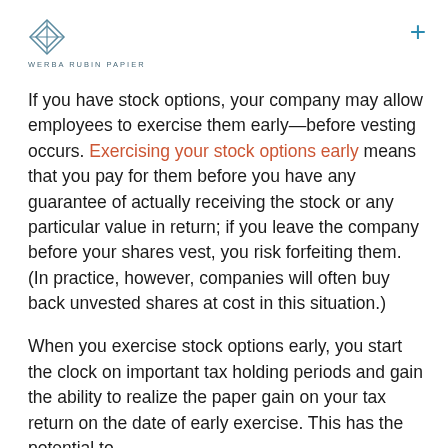WERBA RUBIN PAPIER
If you have stock options, your company may allow employees to exercise them early—before vesting occurs. Exercising your stock options early means that you pay for them before you have any guarantee of actually receiving the stock or any particular value in return; if you leave the company before your shares vest, you risk forfeiting them. (In practice, however, companies will often buy back unvested shares at cost in this situation.)
When you exercise stock options early, you start the clock on important tax holding periods and gain the ability to realize the paper gain on your tax return on the date of early exercise. This has the potential to